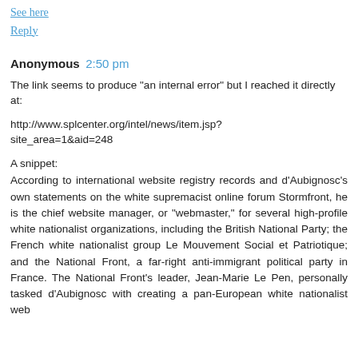See here
Reply
Anonymous  2:50 pm
The link seems to produce "an internal error" but I reached it directly at:
http://www.splcenter.org/intel/news/item.jsp?site_area=1&aid=248
A snippet:
According to international website registry records and d'Aubignosc's own statements on the white supremacist online forum Stormfront, he is the chief website manager, or "webmaster," for several high-profile white nationalist organizations, including the British National Party; the French white nationalist group Le Mouvement Social et Patriotique; and the National Front, a far-right anti-immigrant political party in France. The National Front's leader, Jean-Marie Le Pen, personally tasked d'Aubignosc with creating a pan-European white nationalist web